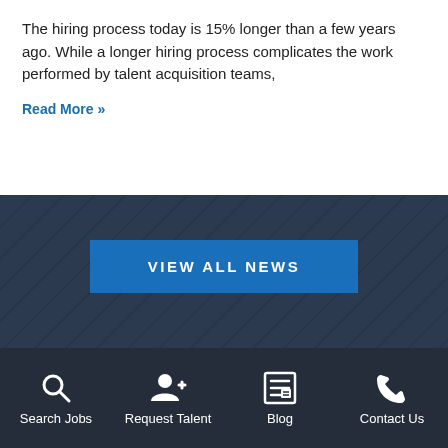The hiring process today is 15% longer than a few years ago. While a longer hiring process complicates the work performed by talent acquisition teams,
Read More »
VIEW ALL NEWS
[Figure (photo): Two-panel image strip showing people in a professional/workplace setting, partially cropped]
Search Jobs | Request Talent | Blog | Contact Us